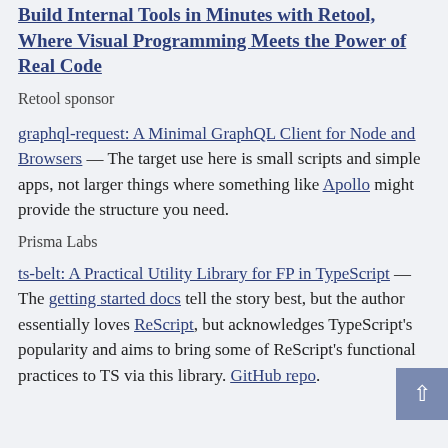Build Internal Tools in Minutes with Retool, Where Visual Programming Meets the Power of Real Code
Retool sponsor
graphql-request: A Minimal GraphQL Client for Node and Browsers — The target use here is small scripts and simple apps, not larger things where something like Apollo might provide the structure you need.
Prisma Labs
ts-belt: A Practical Utility Library for FP in TypeScript — The getting started docs tell the story best, but the author essentially loves ReScript, but acknowledges TypeScript's popularity and aims to bring some of ReScript's functional practices to TS via this library. GitHub repo.